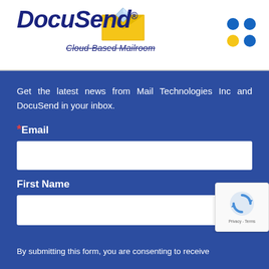[Figure (logo): DocuSend logo with envelope icon, italic bold dark blue text 'DocuSend®' and tagline 'Cloud-Based Mailroom' with strikethrough styling, and decorative colored dots (blue and gold) in the upper right.]
Get the latest news from Mail Technologies Inc and DocuSend in your inbox.
* Email
First Name
[Figure (other): reCAPTCHA badge with rotating arrows icon, Privacy and Terms links]
By submitting this form, you are consenting to receive